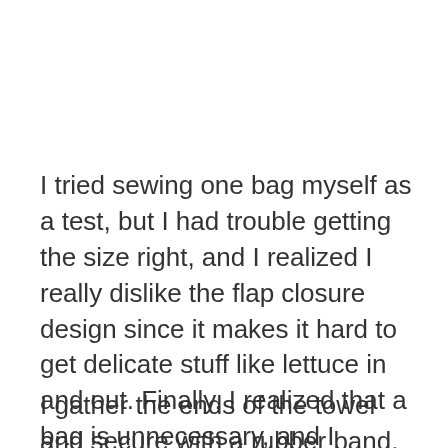I tried sewing one bag myself as a test, but I had trouble getting the size right, and I realized I really dislike the flap closure design since it makes it hard to get delicate stuff like lettuce in and out. Finally, I realized that a bag is unnecessary, and I started wrapping lettuce and greens (and even broccoli) in a damp dish towel.
I gather the ends of the towel and secure with a rubber band, and then